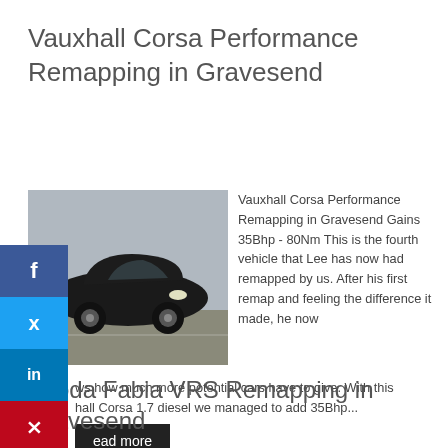Vauxhall Corsa Performance Remapping in Gravesend
[Figure (photo): Black Vauxhall Corsa parked in a car park, viewed from the front-left angle]
Vauxhall Corsa Performance Remapping in Gravesend Gains 35Bhp - 80Nm This is the fourth vehicle that Lee has now had remapped by us. After his first remap and feeling the difference it made, he now knows how much more potential cars have to give. With this Vauxhall Corsa 1.7 diesel we managed to add 35Bhp...
Read more
Skoda Fabia VRS Remapping in Gravesend